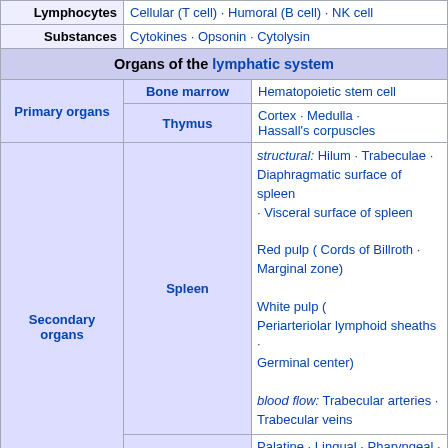|  |  |  |
| --- | --- | --- |
| Lymphocytes | Cellular (T cell) · Humoral (B cell) · NK cell |  |
| Substances | Cytokines · Opsonin · Cytolysin |  |
| Organs of the lymphatic system |  |  |
| Primary organs | Bone marrow | Hematopoietic stem cell |
| Primary organs | Thymus | Cortex · Medulla · Hassall's corpuscles |
|  | Spleen | structural: Hilum · Trabeculae · Diaphragmatic surface of spleen · Visceral surface of spleen
Red pulp ( Cords of Billroth · Marginal zone)
White pulp ( Periarteriolar lymphoid sheaths · Germinal center)
blood flow: Trabecular arteries · Trabecular veins |
| Secondary organs | Tonsils | Palatine · Lingual · Pharyngeal · Tubal · Tonsillar crypts · Waldeyer's tonsillar ring |
| Secondary organs |  | lymph flow: |